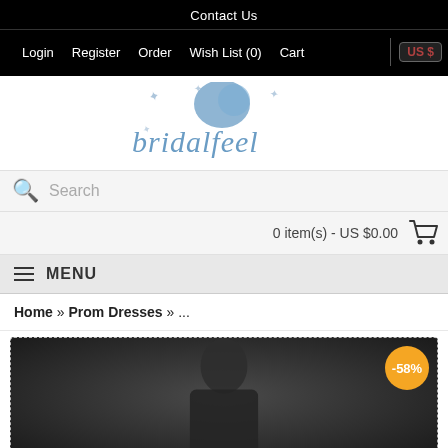Contact Us
Login   Register   Order   Wish List (0)   Cart   US $
[Figure (logo): Bridalfeel logo — stylized blue script text 'bridalfeel' with butterfly decorations]
Search
0 item(s) - US $0.00
MENU
Home » Prom Dresses » ...
[Figure (photo): Product photo of a woman in a dark gown against a dark background, with a -58% discount badge]